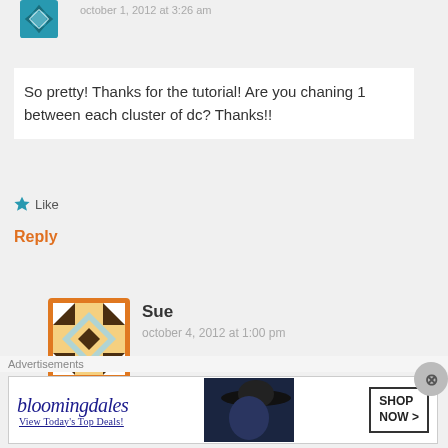[Figure (illustration): Teal decorative avatar icon (partial) at top left]
october 1, 2012 at 3:26 am
So pretty! Thanks for the tutorial! Are you chaning 1 between each cluster of dc? Thanks!!
★ Like
Reply
[Figure (illustration): Square quilt-pattern avatar for Sue, orange border with geometric diamond pattern in brown, teal, gold]
Sue
october 4, 2012 at 1:00 pm
I don't ch1 in between. I go back and forth on that, I don't have a problem with the 3dc
Advertisements
[Figure (screenshot): Bloomingdale's advertisement banner: logo, 'View Today's Top Deals!', woman in hat, 'SHOP NOW >' button]